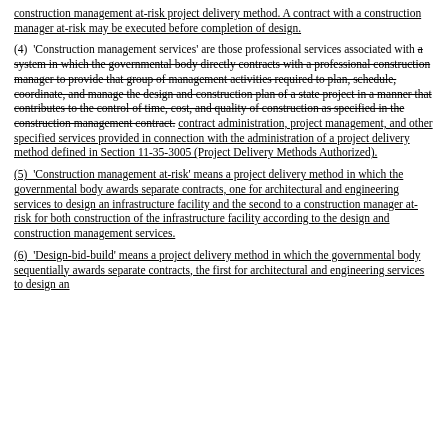construction management at-risk project delivery method. A contract with a construction manager at-risk may be executed before completion of design.
(4)  'Construction management services' are those professional services associated with a system in which the governmental body directly contracts with a professional construction manager to provide that group of management activities required to plan, schedule, coordinate, and manage the design and construction plan of a state project in a manner that contributes to the control of time, cost, and quality of construction as specified in the construction management contract. contract administration, project management, and other specified services provided in connection with the administration of a project delivery method defined in Section 11-35-3005 (Project Delivery Methods Authorized).
(5)  'Construction management at-risk' means a project delivery method in which the governmental body awards separate contracts, one for architectural and engineering services to design an infrastructure facility and the second to a construction manager at-risk for both construction of the infrastructure facility according to the design and construction management services.
(6)  'Design-bid-build' means a project delivery method in which the governmental body sequentially awards separate contracts, the first for architectural and engineering services to design an